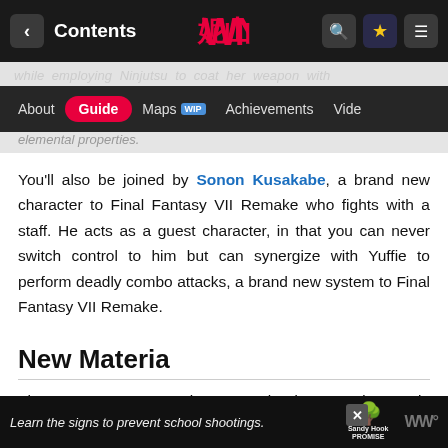Contents | [logo] | [search] [star] [menu]
while employing Ninjutsu to coat her weapon with elemental properties.
About | Guide | Maps WIP | Achievements | Vide
You'll also be joined by Sonon Kusakabe, a brand new character to Final Fantasy VII Remake who fights with a staff. He acts as a guest character, in that you can never switch control to him but can synergize with Yuffie to perform deadly combo attacks, a brand new system to Final Fantasy VII Remake.
New Materia
There are new Materia to track down and use in INTERmission, including the addition of a brand new
Learn the signs to prevent school shootings. [Sandy Hook Promise logo] [logo]